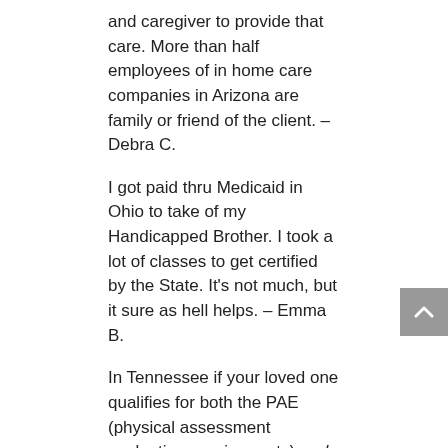and caregiver to provide that care. More than half employees of in home care companies in Arizona are family or friend of the client. – Debra C.
I got paid thru Medicaid in Ohio to take of my Handicapped Brother. I took a lot of classes to get certified by the State. It's not much, but it sure as hell helps. – Emma B.
In Tennessee if your loved one qualifies for both the PAE (physical assessment evaluation requirements) and the financial requirements for the Medicaid Choices program. However, I was told that in the near future Tennessee might do away with a family member being able to be the paid caregiver. For now it is in place. – Holly O.
In Illinois it's a complete joke! I applied for this and was told my mom and I met the requirements. However, they would only pay 20 hrs a week and I